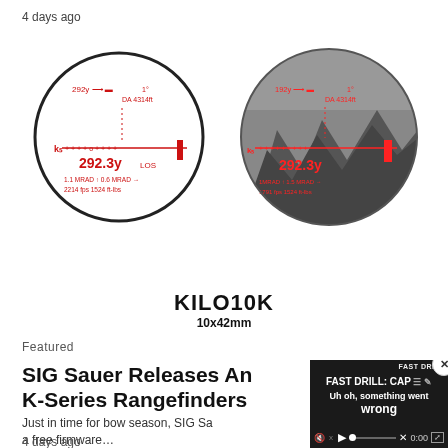4 days ago
[Figure (photo): Two circular scope views showing rangefinder reticle display — left is white background showing red HUD data (292y, DA 4314ft, 292.3y LOS, 1.1 MRAD, 0.6 MRAD, 2214 fps, 1524 ft-lbs), right is real-world mountainous scene with same red HUD overlay. Below the scopes: KILO10K 10x42mm text label.]
Featured
SIG Sauer Releases An K-Series Rangefinders
Just in time for bow season, SIG Sa a free firmware…
4 days ago
[Figure (screenshot): Video player overlay on dark background showing 'FAST DRILL: CAP' title text, error message 'Uh oh, something went wrong', mute icon, play button, progress bar, X icon, 0:00 timecode, fullscreen icon. Close button (x) in top right corner.]